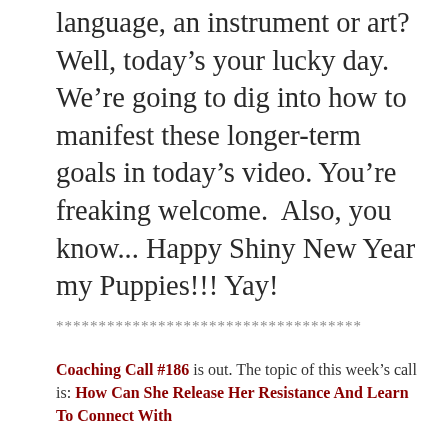language, an instrument or art? Well, today's your lucky day. We're going to dig into how to manifest these longer-term goals in today's video. You're freaking welcome.  Also, you know... Happy Shiny New Year my Puppies!!! Yay!
************************************
Coaching Call #186 is out. The topic of this week's call is: How Can She Release Her Resistance And Learn To Connect With